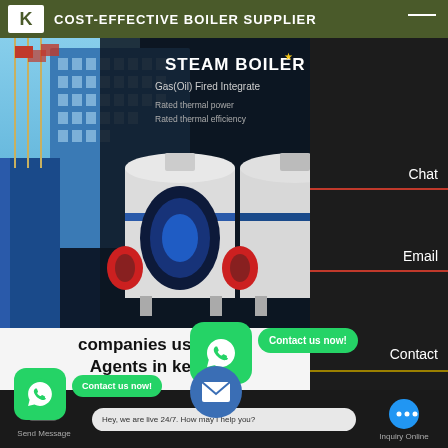COST-EFFECTIVE BOILER SUPPLIER
[Figure (screenshot): Steam boiler product page showing two industrial gas/oil fired integrated steam boilers in white and blue against dark background, with product title 'STEAM BOILER', subtitle 'Gas(Oil) Fired Integrate...', rated thermal power and efficiency specs, popup card with customer service agent photo and 'Get Latest Price' button]
companies using f Agents in kenya
[Figure (screenshot): WhatsApp contact buttons - green rounded squares with WhatsApp logo and 'Contact us now!' bubbles]
Send Message   Hey, we are live 24/7. How may I help you?   Inquiry Online